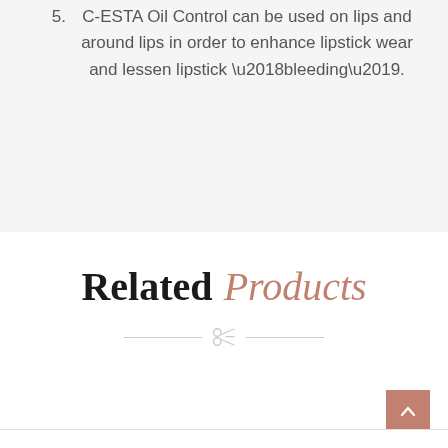5. C-ESTA Oil Control can be used on lips and around lips in order to enhance lipstick wear and lessen lipstick ‘bleeding’.
Related Products